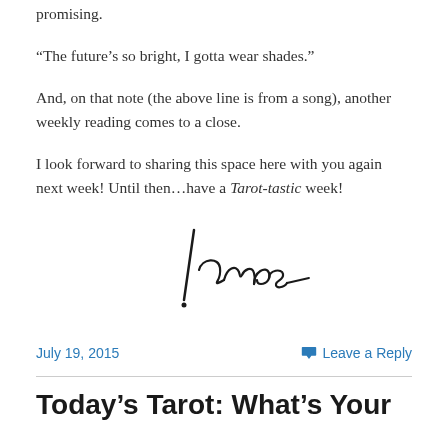promising.
“The future’s so bright, I gotta wear shades.”
And, on that note (the above line is from a song), another weekly reading comes to a close.
I look forward to sharing this space here with you again next week! Until then…have a Tarot-tastic week!
[Figure (illustration): Handwritten signature reading 'James']
July 19, 2015
Leave a Reply
Today’s Tarot: What’s Your